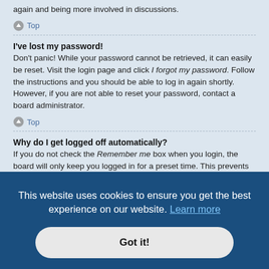again and being more involved in discussions.
Top
I've lost my password!
Don't panic! While your password cannot be retrieved, it can easily be reset. Visit the login page and click I forgot my password. Follow the instructions and you should be able to log in again shortly.
However, if you are not able to reset your password, contact a board administrator.
Top
Why do I get logged off automatically?
If you do not check the Remember me box when you login, the board will only keep you logged in for a preset time. This prevents misuse of your account by someone else. To stay logged in, check the Remember me box during login. This is not recommended if you access the board from a shared computer, e.g.
authenticated and logged into the board. Cookies also provide functions such as
[Figure (screenshot): Cookie consent banner overlay with dark blue background. Text: 'This website uses cookies to ensure you get the best experience on our website. Learn more' and a 'Got it!' button.]